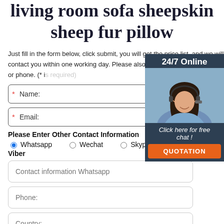living room sofa sheepskin sheep fur pillow
Just fill in the form below, click submit, you will get the price list, and we will contact you within one working day. Please also feel free to contact us via email or phone. (* is required)
[Figure (infographic): 24/7 Online chat widget with a customer service representative photo, 'Click here for free chat!' text, and QUOTATION button]
* Name:
* Email:
Please Enter Other Contact Information
Whatsapp   Wechat   Skype   Viber
Contact information Whatsapp
Phone:
Country: